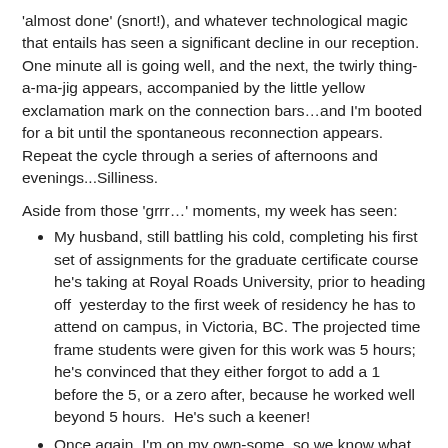'almost done' (snort!), and whatever technological magic that entails has seen a significant decline in our reception.  One minute all is going well, and the next, the twirly thing-a-ma-jig appears, accompanied by the little yellow exclamation mark on the connection bars…and I'm booted for a bit until the spontaneous reconnection appears.  Repeat the cycle through a series of afternoons and evenings...Silliness.
Aside from those 'grrr…' moments, my week has seen:
My husband, still battling his cold, completing his first set of assignments for the graduate certificate course he's taking at Royal Roads University, prior to heading off  yesterday to the first week of residency he has to attend on campus, in Victoria, BC. The projected time frame students were given for this work was 5 hours; he's convinced that they either forgot to add a 1 before the 5, or a zero after, because he worked well beyond 5 hours.  He's such a keener!
Once again, I'm on my own-some, so we know what that means! Some home comforts time...